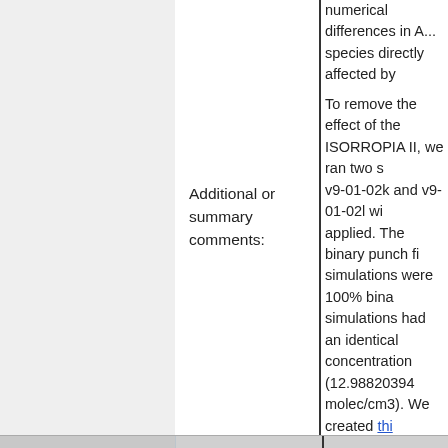numerical differences in ... species directly affected by ...
Additional or summary comments:
To remove the effect of the ISORROPIA II, we ran two simulations v9-01-02k and v9-01-02l with ... applied. The binary punch fi... simulations were 100% bina... simulations had an identical concentration (12.98820394... molec/cm3). We created this distribution plot from both ... As you can see, the output ... identical.

Therefore, we can say that ... updates made to implement... not affect the 1-month benc... recommend that the develo... testing to make sure that th... package is working properly...